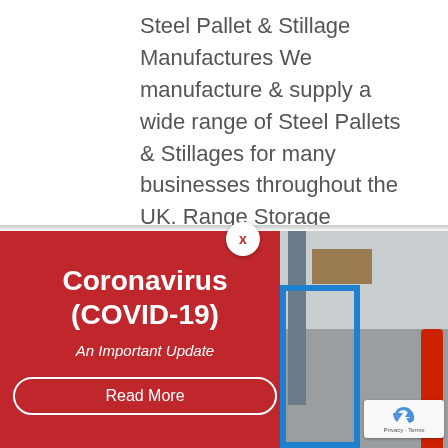Steel Pallet & Stillage Manufactures We manufacture & supply a wide range of Steel Pallets & Stillages for many businesses throughout the UK. Range Storage Equipment Ltd have been manufacturing & designing steel pallets & stillages since 1979.  We...
[Figure (infographic): Red banner popup with Coronavirus (COVID-19) An Important Update text on left side, warehouse photo with blue steel cage and fire extinguisher on right side, close X button at top center]
[Figure (photo): reCAPTCHA privacy badge in bottom right corner]